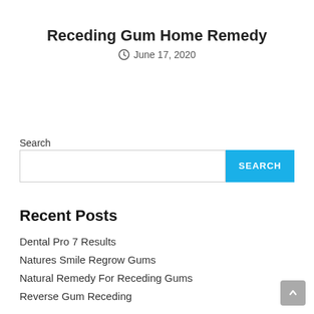Receding Gum Home Remedy
June 17, 2020
Search
Recent Posts
Dental Pro 7 Results
Natures Smile Regrow Gums
Natural Remedy For Receding Gums
Reverse Gum Receding
Do Gum Grows Back Naturally?